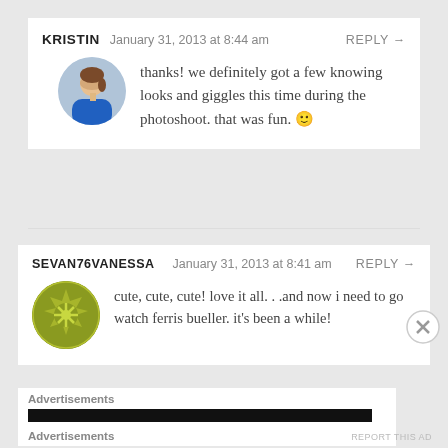KRISTIN  January 31, 2013 at 8:44 am  REPLY →
[Figure (photo): Round avatar photo of a woman in blue top]
thanks! we definitely got a few knowing looks and giggles this time during the photoshoot. that was fun. 🙂
SEVAN76VANESSA  January 31, 2013 at 8:41 am  REPLY →
[Figure (logo): Round golden badge/rosette avatar icon]
cute, cute, cute! love it all. . .and now i need to go watch ferris bueller. it's been a while!
Advertisements
Advertisements